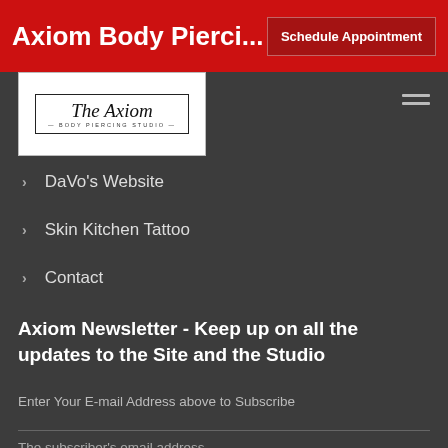Axiom Body Pierci...
[Figure (logo): The Axiom Body Piercing Studio logo — cursive text in a bordered rectangle]
DaVo's Website
Skin Kitchen Tattoo
Contact
Axiom Newsletter - Keep up on all the updates to the Site and the Studio
Enter Your E-mail Address above to Subscribe
The subscriber's email address.